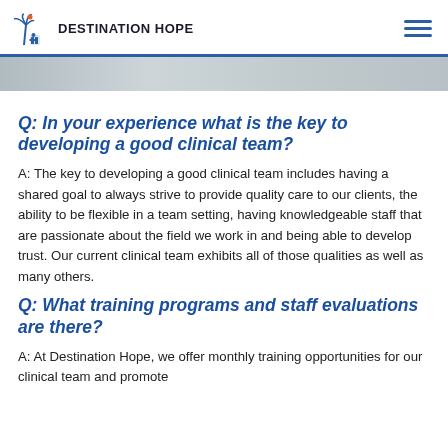DESTINATION HOPE
[Figure (photo): Gray gradient banner image at top of page]
Q: In your experience what is the key to developing a good clinical team?
A: The key to developing a good clinical team includes having a shared goal to always strive to provide quality care to our clients, the ability to be flexible in a team setting, having knowledgeable staff that are passionate about the field we work in and being able to develop trust. Our current clinical team exhibits all of those qualities as well as many others.
Q: What training programs and staff evaluations are there?
A: At Destination Hope, we offer monthly training opportunities for our clinical team and promote